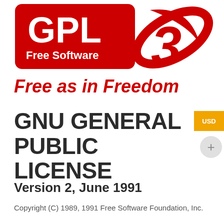[Figure (logo): GPL v3 logo: red rectangle with 'GPL' in white bold letters, 'Free Software' below in white, and a large stylized red '3' to the right with swoosh/leaf graphic. Below the logo box: 'Free as in Freedom' in large bold red italic text.]
GNU GENERAL PUBLIC LICENSE
Version 2, June 1991
Copyright (C) 1989, 1991 Free Software Foundation, Inc.